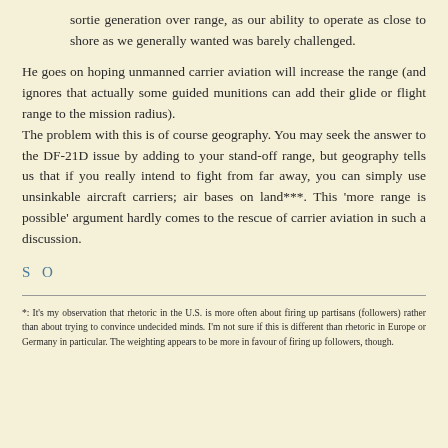sortie generation over range, as our ability to operate as close to shore as we generally wanted was barely challenged.
He goes on hoping unmanned carrier aviation will increase the range (and ignores that actually some guided munitions can add their glide or flight range to the mission radius).
The problem with this is of course geography. You may seek the answer to the DF-21D issue by adding to your stand-off range, but geography tells us that if you really intend to fight from far away, you can simply use unsinkable aircraft carriers; air bases on land***. This 'more range is possible' argument hardly comes to the rescue of carrier aviation in such a discussion.
S O
*: It's my observation that rhetoric in the U.S. is more often about firing up partisans (followers) rather than about trying to convince undecided minds. I'm not sure if this is different than rhetoric in Europe or Germany in particular. The weighting appears to be more in favour of firing up followers, though.